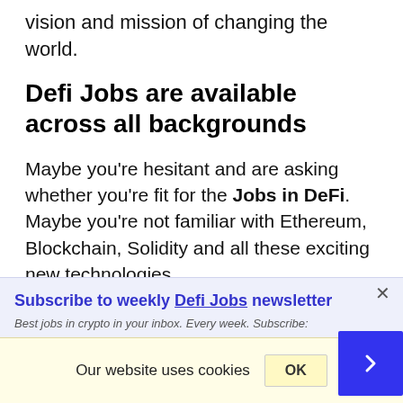vision and mission of changing the world.
Defi Jobs are available across all backgrounds
Maybe you're hesitant and are asking whether you're fit for the Jobs in DeFi. Maybe you're not familiar with Ethereum, Blockchain, Solidity and all these exciting new technologies.
Subscribe to weekly Defi Jobs newsletter
Best jobs in crypto in your inbox. Every week. Subscribe:
Our website uses cookies
OK